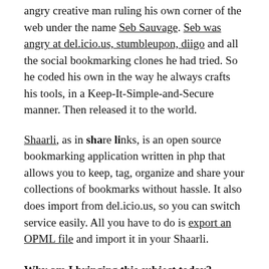angry creative man ruling his own corner of the web under the name Seb Sauvage. Seb was angry at del.icio.us, stumbleupon, diigo and all the social bookmarking clones he had tried. So he coded his own in the way he always crafts his tools, in a Keep-It-Simple-and-Secure manner. Then released it to the world.
Shaarli, as in share links, is an open source bookmarking application written in php that allows you to keep, tag, organize and share your collections of bookmarks without hassle. It also does import from del.icio.us, so you can switch service easily. All you have to do is export an OPML file and import it in your Shaarli.
Why am I bringing this subject today?
Because, since the beginning of this year, del.icio.us